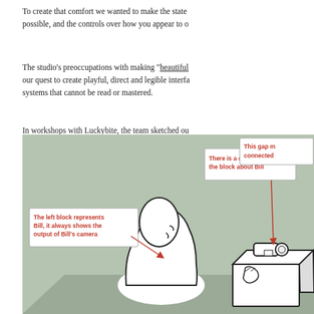To create that comfort we wanted to make the state as legible as possible, and the controls over how you appear to others as clear as possible, and the controls over how you appear to others as clear.
The studio's preoccupations with making "beautiful interfaces" informed our quest to create playful, direct and legible interfaces – as opposed to systems that cannot be read or mastered.
In workshops with Luckybite, the team sketched out an interface whose system corresponds directly to the physicality of the video call.
[Figure (illustration): A sketch illustration on a sage/muted green background showing a cartoon person (Bill) facing right and a camera device on a box/stand to the right. Several annotation labels in red text indicate: 'There is a camera on the block about Bill', 'The left block represents Bill, it always shows the output of Bill's camera', and 'This gap m... connected...' Red arrows point from the labels to various parts of the diagram.]